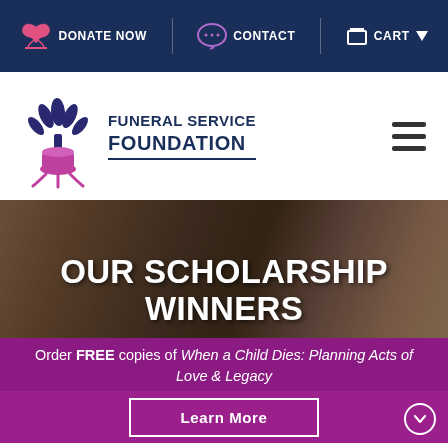DONATE NOW  CONTACT  CART
[Figure (logo): Funeral Service Foundation logo with stylized tree/leaves in purple and pink, next to the text FUNERAL SERVICE FOUNDATION]
[Figure (photo): Blurred background photo of graduation caps and gowns with dark overlay, showing hero banner text OUR SCHOLARSHIP WINNERS]
OUR SCHOLARSHIP WINNERS
Order FREE copies of When a Child Dies: Planning Acts of Love & Legacy
Learn More